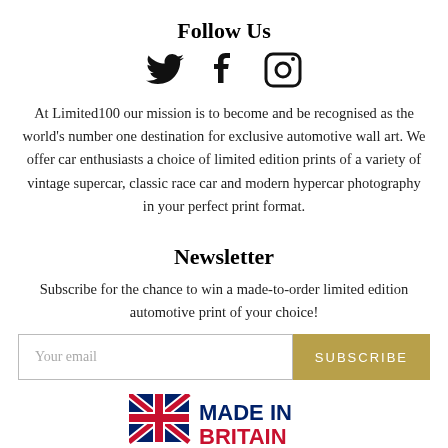Follow Us
[Figure (illustration): Three social media icons: Twitter bird, Facebook 'f', and Instagram camera outline, displayed in a row]
At Limited100 our mission is to become and be recognised as the world's number one destination for exclusive automotive wall art. We offer car enthusiasts a choice of limited edition prints of a variety of vintage supercar, classic race car and modern hypercar photography in your perfect print format.
Newsletter
Subscribe for the chance to win a made-to-order limited edition automotive print of your choice!
[Figure (screenshot): Email input field with placeholder 'Your email' and a gold 'SUBSCRIBE' button]
[Figure (logo): Made in Britain logo with Union Jack flag and text 'MADE IN BRITAIN']